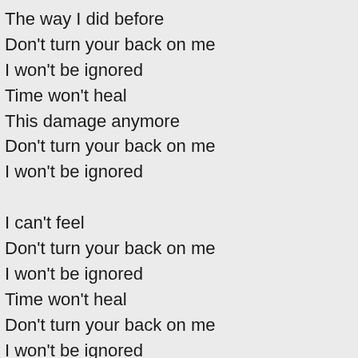The way I did before
Don't turn your back on me
I won't be ignored
Time won't heal
This damage anymore
Don't turn your back on me
I won't be ignored

I can't feel
Don't turn your back on me
I won't be ignored
Time won't heal
Don't turn your back on me
I won't be ignored